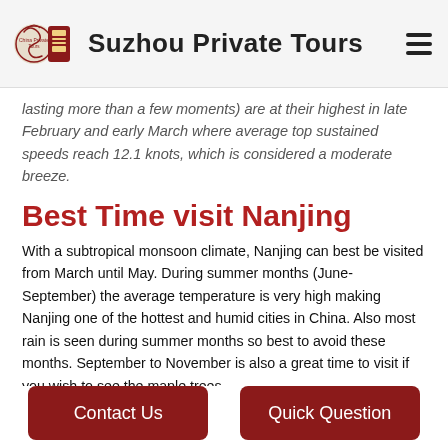Suzhou Private Tours
lasting more than a few moments) are at their highest in late February and early March where average top sustained speeds reach 12.1 knots, which is considered a moderate breeze.
Best Time visit Nanjing
With a subtropical monsoon climate, Nanjing can best be visited from March until May. During summer months (June-September) the average temperature is very high making Nanjing one of the hottest and humid cities in China. Also most rain is seen during summer months so best to avoid these months. September to November is also a great time to visit if you wish to see the maple trees.
What's the best time to go to Nanjing in China?